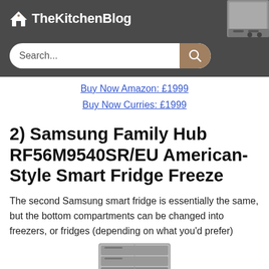TheKitchenBlog
Buy Now Curries: £1999
2) Samsung Family Hub RF56M9540SR/EU American-Style Smart Fridge Freeze
The second Samsung smart fridge is essentially the same, but the bottom compartments can be changed into freezers, or fridges (depending on what you'd prefer)
[Figure (photo): Bottom portion of a Samsung stainless steel smart fridge freezer]